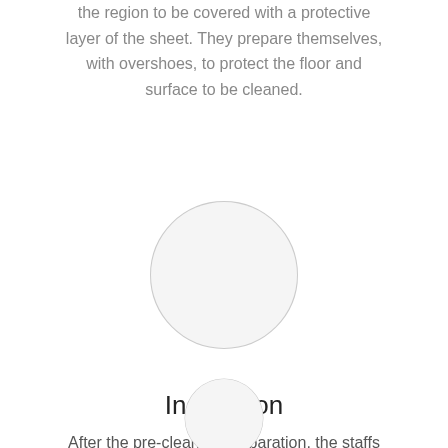the region to be covered with a protective layer of the sheet. They prepare themselves, with overshoes, to protect the floor and surface to be cleaned.
[Figure (illustration): A light gray circle (placeholder/icon area) centered on the page]
Inspection
After the pre-cleaning preparation, the staffs would check or inspect the entire surface of the furniture like the age/kind/type of the upholstery/ couch and carpet. Then, the most suitable of technological and cleaning methods for the specific surface opts.
[Figure (illustration): A light gray circle (placeholder/icon area) partially visible at the bottom of the page]